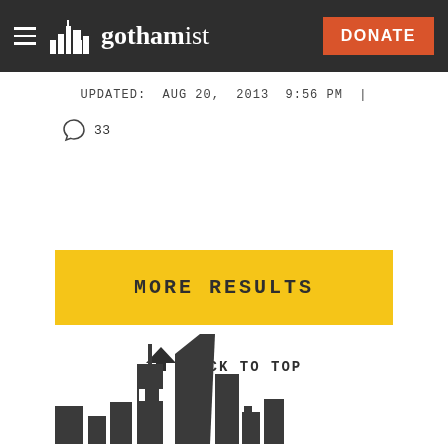gothamist — DONATE
UPDATED: AUG 20, 2013 9:56 PM  |
33
MORE RESULTS
↑ BACK TO TOP
[Figure (illustration): City skyline silhouette in dark gray, showing various skyscrapers including what appears to be the Empire State Building]